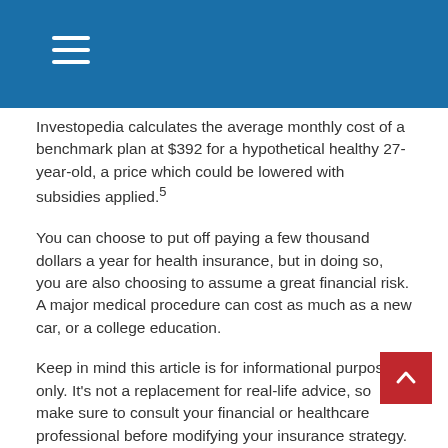Investopedia calculates the average monthly cost of a benchmark plan at $392 for a hypothetical healthy 27-year-old, a price which could be lowered with subsidies applied.5
You can choose to put off paying a few thousand dollars a year for health insurance, but in doing so, you are also choosing to assume a great financial risk. A major medical procedure can cost as much as a new car, or a college education.
Keep in mind this article is for informational purposes only. It's not a replacement for real-life advice, so make sure to consult your financial or healthcare professional before modifying your insurance strategy.
If you are uninsured, take some time to look at your choices with someone who knows the insurance market